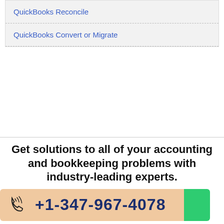QuickBooks Reconcile
QuickBooks Convert or Migrate
Get solutions to all of your accounting and bookkeeping problems with industry-leading experts.
+1-347-967-4078